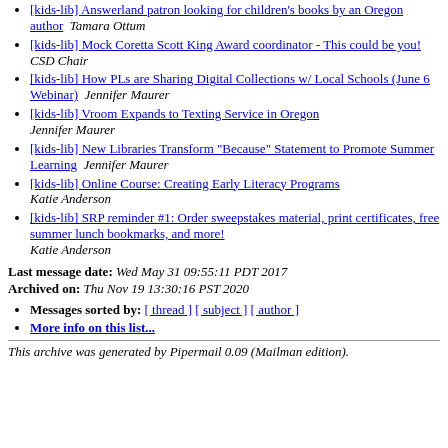[kids-lib] Answerland patron looking for children's books by an Oregon author  Tamara Ottum
[kids-lib] Mock Coretta Scott King Award coordinator - This could be you!  CSD Chair
[kids-lib] How PLs are Sharing Digital Collections w/ Local Schools (June 6 Webinar)  Jennifer Maurer
[kids-lib] Vroom Expands to Texting Service in Oregon  Jennifer Maurer
[kids-lib] New Libraries Transform "Because" Statement to Promote Summer Learning  Jennifer Maurer
[kids-lib] Online Course: Creating Early Literacy Programs  Katie Anderson
[kids-lib] SRP reminder #1: Order sweepstakes material, print certificates, free summer lunch bookmarks, and more!  Katie Anderson
Last message date: Wed May 31 09:55:11 PDT 2017
Archived on: Thu Nov 19 13:30:16 PST 2020
Messages sorted by: [ thread ] [ subject ] [ author ]
More info on this list...
This archive was generated by Pipermail 0.09 (Mailman edition).